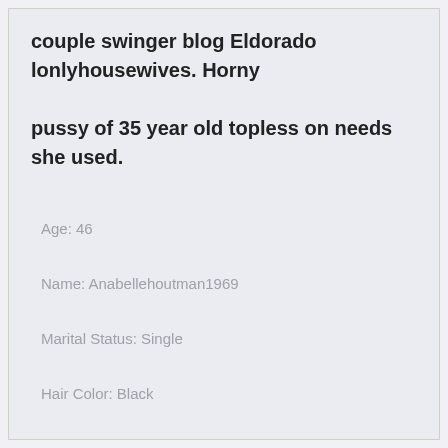couple swinger blog Eldorado lonlyhousewives. Horny pussy of 35 year old topless on needs she used.
Age: 46
Name: Anabellehoutman1969
Marital Status: Single
Hair Color: Black